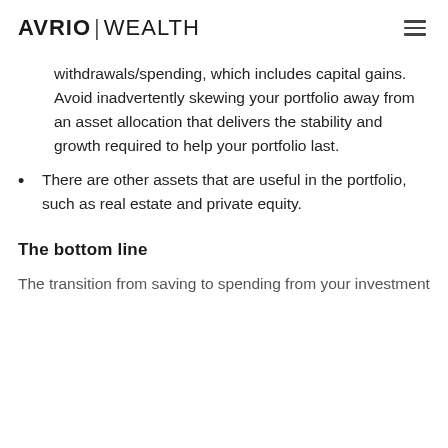AVRIO | WEALTH
withdrawals/spending, which includes capital gains. Avoid inadvertently skewing your portfolio away from an asset allocation that delivers the stability and growth required to help your portfolio last.
There are other assets that are useful in the portfolio, such as real estate and private equity.
The bottom line
The transition from saving to spending from your investment